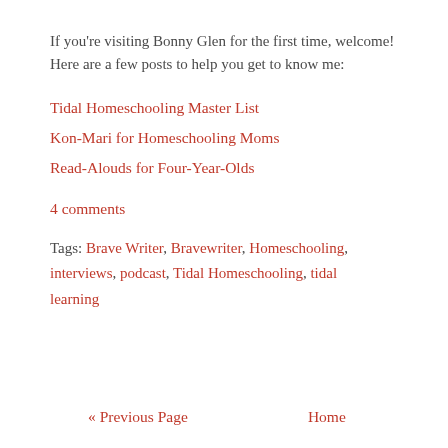If you're visiting Bonny Glen for the first time, welcome! Here are a few posts to help you get to know me:
Tidal Homeschooling Master List
Kon-Mari for Homeschooling Moms
Read-Alouds for Four-Year-Olds
4 comments
Tags: Brave Writer, Bravewriter, Homeschooling, interviews, podcast, Tidal Homeschooling, tidal learning
« Previous Page    Home